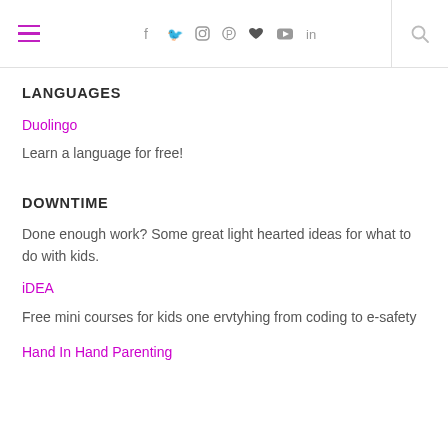Navigation bar with hamburger menu, social icons (f, twitter, instagram, pinterest, heart, youtube, in), and search icon
LANGUAGES
Duolingo
Learn a language for free!
DOWNTIME
Done enough work? Some great light hearted ideas for what to do with kids.
iDEA
Free mini courses for kids one ervtyhing from coding to e-safety
Hand In Hand Parenting